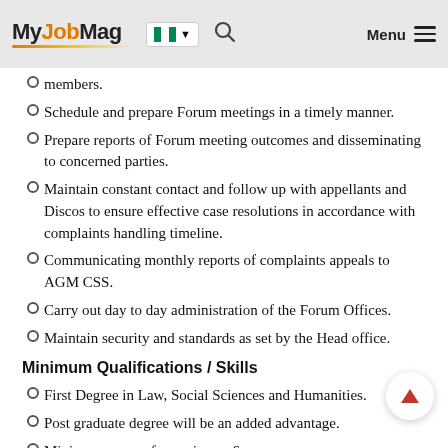MyJobMag [Nigeria flag] Menu
members.
Schedule and prepare Forum meetings in a timely manner.
Prepare reports of Forum meeting outcomes and disseminating to concerned parties.
Maintain constant contact and follow up with appellants and Discos to ensure effective case resolutions in accordance with complaints handling timeline.
Communicating monthly reports of complaints appeals to AGM CSS.
Carry out day to day administration of the Forum Offices.
Maintain security and standards as set by the Head office.
Minimum Qualifications / Skills
First Degree in Law, Social Sciences and Humanities.
Post graduate degree will be an added advantage.
Minimum years of experience: 6 years